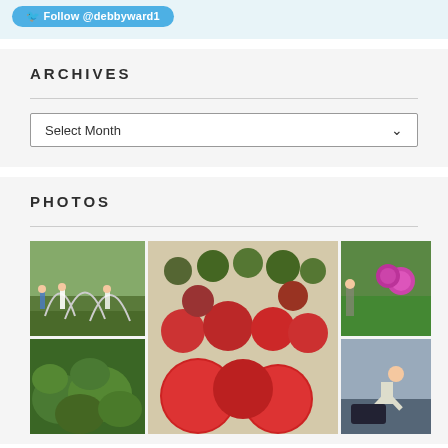[Figure (other): Twitter Follow button for @debbyward1 on light blue background]
ARCHIVES
Select Month
PHOTOS
[Figure (photo): Grid of 5 photos showing garden scenes: people setting up garden hoops, tomatoes of various sizes arranged on a surface, flowers in a garden, leafy green plants, and a person gardening]